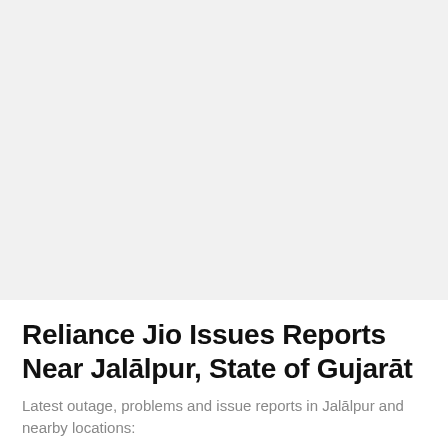[Figure (other): Large light gray blank/empty area occupying the top portion of the page]
Reliance Jio Issues Reports Near Jalālpur, State of Gujarāt
Latest outage, problems and issue reports in Jalālpur and nearby locations: